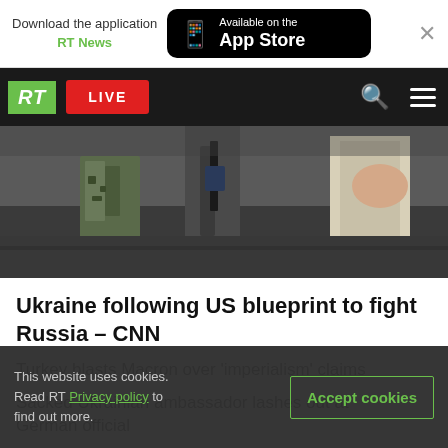Download the application RT News | Available on the App Store
[Figure (screenshot): RT news website navigation bar with green RT logo, red LIVE button, search and hamburger menu icons on black background]
[Figure (photo): Photo showing legs and feet of people, one in camouflage pants and boots, another in lighter clothing, standing on a dark surface]
Ukraine following US blueprint to fight Russia – CNN
Turkey blasts Macron over 'imperialism' claims
Sacked Ukrainian ambassador lashes out at German official
This website uses cookies. Read RT Privacy policy to find out more.